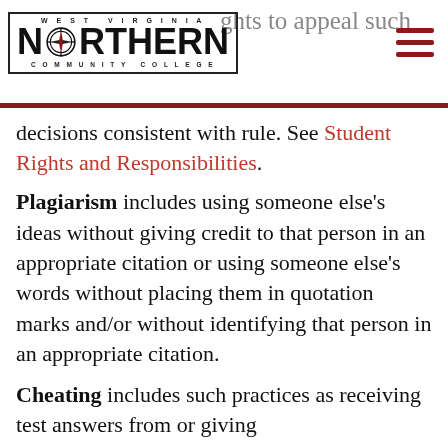West Virginia Northern Community College — Navigation header with logo
decisions consistent with rule. See Student Rights and Responsibilities.
Plagiarism includes using someone else's ideas without giving credit to that person in an appropriate citation or using someone else's words without placing them in quotation marks and/or without identifying that person in an appropriate citation.
Cheating includes such practices as receiving test answers from or giving